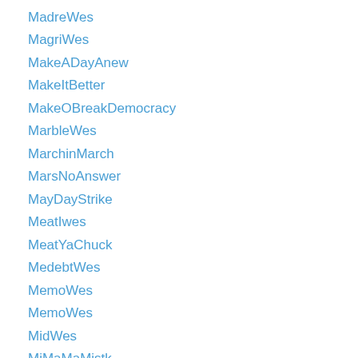MadreWes
MagriWes
MakeADayAnew
MakeItBetter
MakeOBreakDemocracy
MarbleWes
MarchinMarch
MarsNoAnswer
MayDayStrike
MeatIwes
MeatYaChuck
MedebtWes
MemoWes
MemoWes
MidWes
MiMaMaMistk
Misleds
MLKWes
MoralComp
Mother